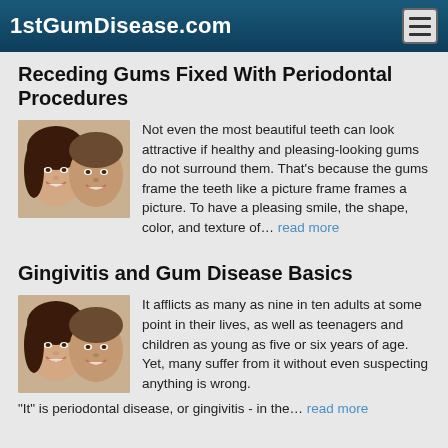1stGumDisease.com
Receding Gums Fixed With Periodontal Procedures
[Figure (photo): Photo of a smiling couple, a woman and a man]
Not even the most beautiful teeth can look attractive if healthy and pleasing-looking gums do not surround them. That's because the gums frame the teeth like a picture frame frames a picture. To have a pleasing smile, the shape, color, and texture of... read more
Gingivitis and Gum Disease Basics
[Figure (photo): Photo of a smiling couple, a woman and a man]
It afflicts as many as nine in ten adults at some point in their lives, as well as teenagers and children as young as five or six years of age. Yet, many suffer from it without even suspecting anything is wrong. "It" is periodontal disease, or gingivitis - in the... read more